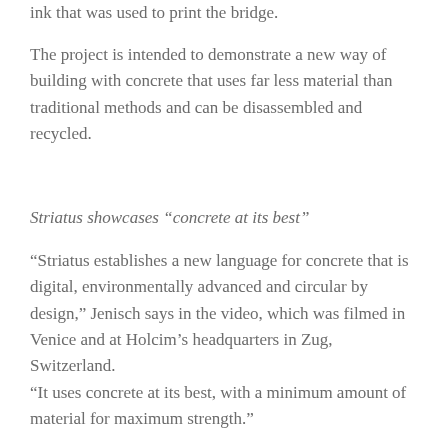ink that was used to print the bridge.
The project is intended to demonstrate a new way of building with concrete that uses far less material than traditional methods and can be disassembled and recycled.
Striatus showcases “concrete at its best”
“Striatus establishes a new language for concrete that is digital, environmentally advanced and circular by design,” Jenisch says in the video, which was filmed in Venice and at Holcim’s headquarters in Zug, Switzerland.
“It uses concrete at its best, with a minimum amount of material for maximum strength.”